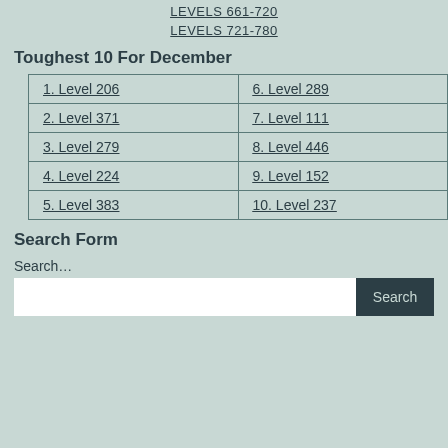LEVELS 661-720
LEVELS 721-780
Toughest 10 For December
| 1. Level 206 | 6. Level 289 |
| 2. Level 371 | 7. Level 111 |
| 3. Level 279 | 8. Level 446 |
| 4. Level 224 | 9. Level 152 |
| 5. Level 383 | 10. Level 237 |
Search Form
Search…